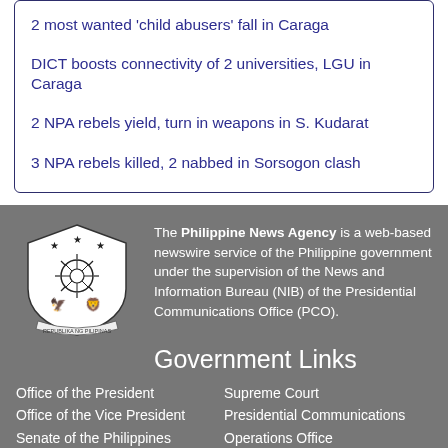2 most wanted ‘child abusers’ fall in Caraga
DICT boosts connectivity of 2 universities, LGU in Caraga
2 NPA rebels yield, turn in weapons in S. Kudarat
3 NPA rebels killed, 2 nabbed in Sorsogon clash
[Figure (logo): Seal of the Republic of the Philippines - Republika ng Pilipinas official government seal in black and white]
The Philippine News Agency is a web-based newswire service of the Philippine government under the supervision of the News and Information Bureau (NIB) of the Presidential Communications Office (PCO).
Government Links
Office of the President
Office of the Vice President
Senate of the Philippines
House of Representatives
Supreme Court
Presidential Communications
Operations Office